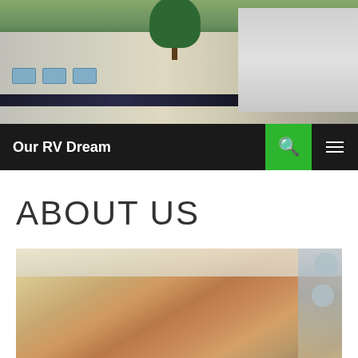[Figure (photo): Photo of a large motorhome/RV parked outside with trees in the background]
Our RV Dream
ABOUT US
[Figure (photo): Family selfie photo showing a woman on the left, a young boy in the center, and a man wearing a hat on the right, smiling indoors]